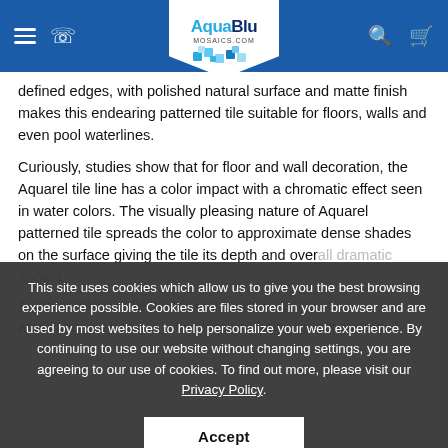AquaBlu Mosaics - navigation header
defined edges, with polished natural surface and matte finish makes this endearing patterned tile suitable for floors, walls and even pool waterlines.
Curiously, studies show that for floor and wall decoration, the Aquarel tile line has a color impact with a chromatic effect seen in water colors. The visually pleasing nature of Aquarel patterned tile spreads the color to approximate dense shades on the surface giving the tile its depth and overall dramatic appeal.
A porcelain tile collection is extremely versatile in its applications. Here are a few ideas to help you get started:
This site uses cookies which allow us to give you the best browsing experience possible. Cookies are files stored in your browser and are used by most websites to help personalize your web experience. By continuing to use our website without changing settings, you are agreeing to our use of cookies. To find out more, please visit our Privacy Policy.